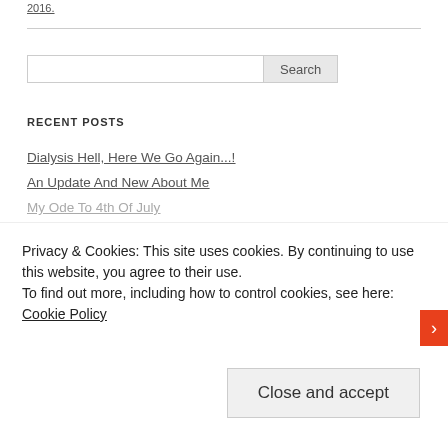2016.
RECENT POSTS
Dialysis Hell, Here We Go Again...!
An Update And New About Me
My Ode To 4th Of July
Privacy & Cookies: This site uses cookies. By continuing to use this website, you agree to their use.
To find out more, including how to control cookies, see here: Cookie Policy
Close and accept